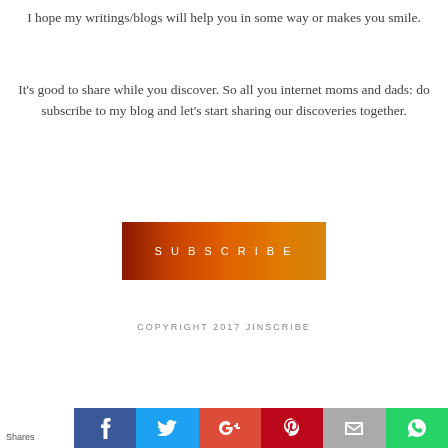I hope my writings/blogs will help you in some way or makes you smile.
It's good to share while you discover. So all you internet moms and dads: do subscribe to my blog and let's start sharing our discoveries together.
[Figure (other): SUBSCRIBE button with red-to-orange gradient background]
COPYRIGHT 2017 JINSCRIBE
[Figure (other): Social share buttons bar: Facebook, Twitter, Google+, Pinterest, Email, WhatsApp icons with Shares label on left]